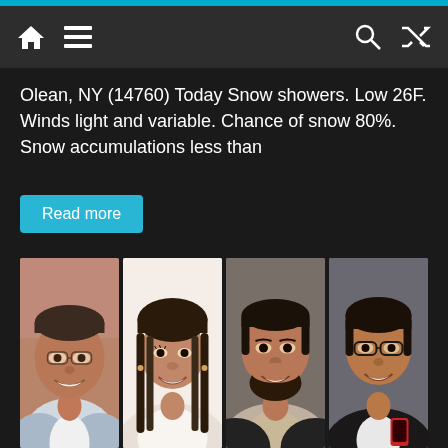Navigation bar with home, menu, search, and shuffle icons
Olean, NY (14760) Today Snow showers. Low 26F. Winds light and variable. Chance of snow 80%. Snow accumulations less than
Read more
[Figure (photo): Four portrait photos of smiling people side by side]